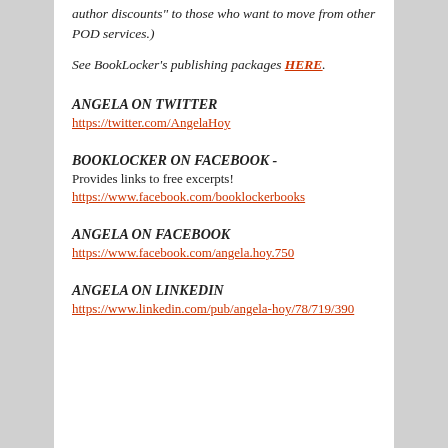author discounts" to those who want to move from other POD services.)
See BookLocker's publishing packages HERE.
ANGELA ON TWITTER
https://twitter.com/AngelaHoy
BOOKLOCKER ON FACEBOOK -
Provides links to free excerpts!
https://www.facebook.com/booklockerbooks
ANGELA ON FACEBOOK
https://www.facebook.com/angela.hoy.750
ANGELA ON LINKEDIN
https://www.linkedin.com/pub/angela-hoy/78/719/390